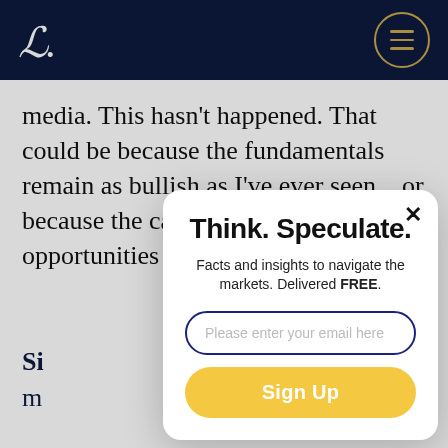L.
media. This hasn't happened. That could be because the fundamentals remain as bullish as I've ever seen... or because the cat is out of the bag on the opportunities in the...
T... si... Co... Co... Co... e... Co...
Si...
m...
Think. Speculate.
Facts and insights to navigate the markets. Delivered FREE.
Please enter your email here
Sign Up